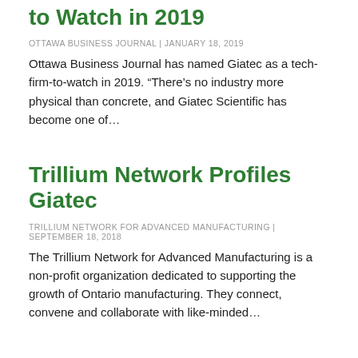to Watch in 2019
OTTAWA BUSINESS JOURNAL | JANUARY 18, 2019
Ottawa Business Journal has named Giatec as a tech-firm-to-watch in 2019. “There’s no industry more physical than concrete, and Giatec Scientific has become one of…
Trillium Network Profiles Giatec
TRILLIUM NETWORK FOR ADVANCED MANUFACTURING | SEPTEMBER 18, 2018
The Trillium Network for Advanced Manufacturing is a non-profit organization dedicated to supporting the growth of Ontario manufacturing. They connect, convene and collaborate with like-minded…
Ottawa Tech Firm Takes On